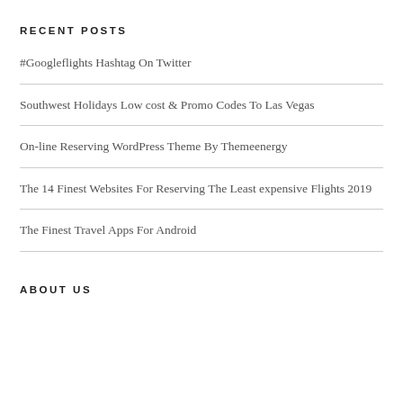RECENT POSTS
#Googleflights Hashtag On Twitter
Southwest Holidays Low cost & Promo Codes To Las Vegas
On-line Reserving WordPress Theme By Themeenergy
The 14 Finest Websites For Reserving The Least expensive Flights 2019
The Finest Travel Apps For Android
ABOUT US